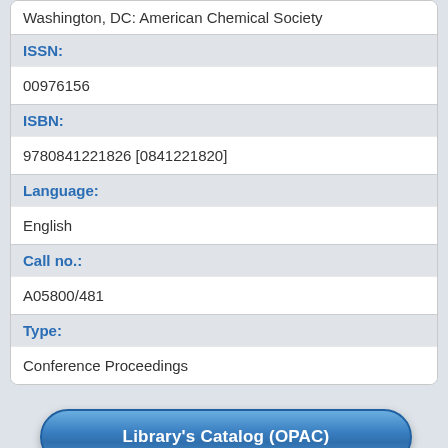Washington, DC: American Chemical Society
ISSN:
00976156
ISBN:
9780841221826 [0841221820]
Language:
English
Call no.:
A05800/481
Type:
Conference Proceedings
Library's Catalog (OPAC)
Details